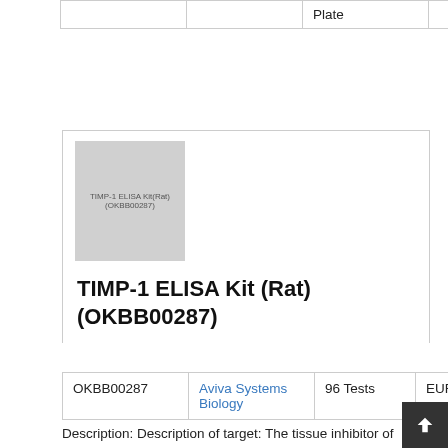|  |  | Plate |  |
| --- | --- | --- | --- |
|  |  | Plate |  |
[Figure (photo): Product image placeholder for TIMP-1 ELISA Kit (Rat) (OKBB00287)]
TIMP-1 ELISA Kit (Rat) (OKBB00287)
|  |  |  |  |
| --- | --- | --- | --- |
| OKBB00287 | Aviva Systems Biology | 96 Tests | EUR 531 |
Description: Description of target: The tissue inhibitor of metalloproteinases 1 (TIMP1) is also called erythroid-